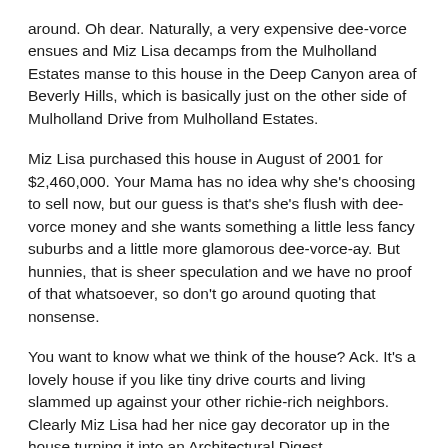around. Oh dear. Naturally, a very expensive dee-vorce ensues and Miz Lisa decamps from the Mulholland Estates manse to this house in the Deep Canyon area of Beverly Hills, which is basically just on the other side of Mulholland Drive from Mulholland Estates.
Miz Lisa purchased this house in August of 2001 for $2,460,000. Your Mama has no idea why she's choosing to sell now, but our guess is that's she's flush with dee-vorce money and she wants something a little less fancy suburbs and a little more glamorous dee-vorce-ay. But hunnies, that is sheer speculation and we have no proof of that whatsoever, so don't go around quoting that nonsense.
You want to know what we think of the house? Ack. It's a lovely house if you like tiny drive courts and living slammed up against your other richie-rich neighbors. Clearly Miz Lisa had her nice gay decorator up in the house turning it into an Architectural Digest fantasmagoria complete with tapestries, leaded glass chandeliers, and velvet covered furniture with rope fringe around the bottom. A big yawn in our book.